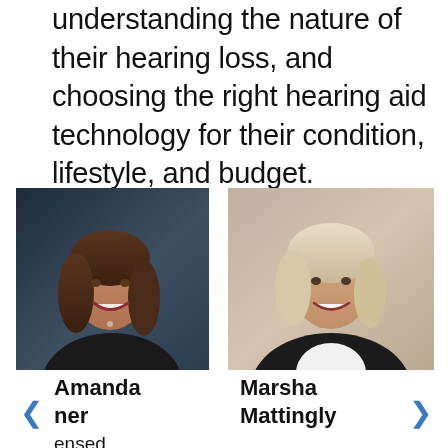understanding the nature of their hearing loss, and choosing the right hearing aid technology for their condition, lifestyle, and budget.
[Figure (photo): Professional headshot of Amanda, a woman with long brown hair wearing a dark blazer, smiling against a dark gradient background.]
[Figure (photo): Professional headshot of Marsha Mattingly, an older woman with white/blonde hair wearing a dark blazer and white shirt, smiling against a beige background.]
Amanda
ner
ensed
Marsha
Mattingly